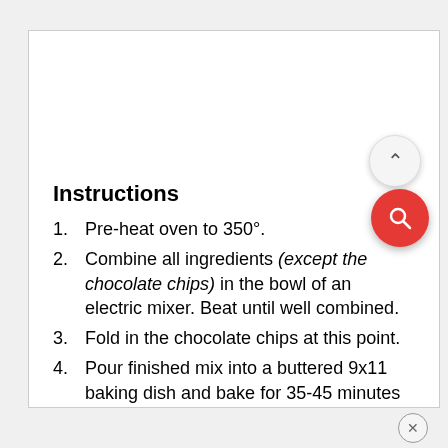Instructions
Pre-heat oven to 350°.
Combine all ingredients (except the chocolate chips) in the bowl of an electric mixer. Beat until well combined.
Fold in the chocolate chips at this point.
Pour finished mix into a buttered 9x11 baking dish and bake for 35-45 minutes (or until toothpick test is clean).
Allow to cool before serving for the perfect bakery brownie texture!